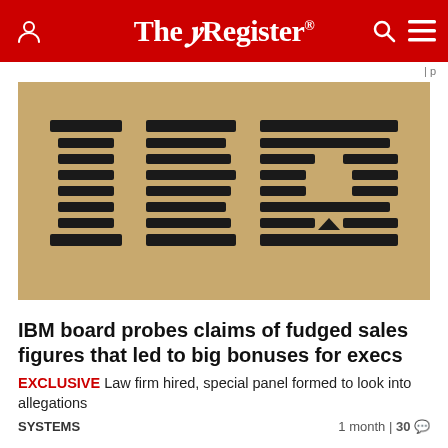The Register
[Figure (logo): IBM logo on a cardboard brown background, rendered in the classic IBM striped horizontal-bar style]
IBM board probes claims of fudged sales figures that led to big bonuses for execs
EXCLUSIVE Law firm hired, special panel formed to look into allegations
SYSTEMS   1 month | 30